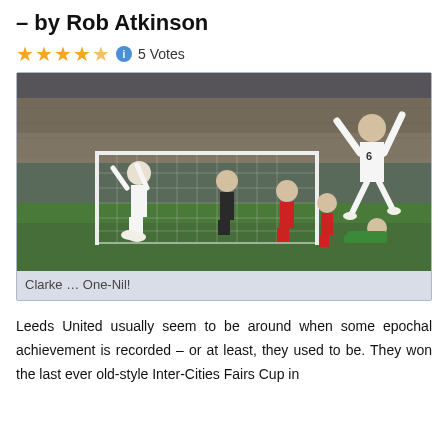– by Rob Atkinson
★★★★½ ℹ 5 Votes
[Figure (photo): Football match photo showing Leeds United players celebrating a goal. A player wearing number 6 jumps with arms raised in celebration near the goal, with Arsenal players (in red) and a goalkeeper (in green) visible. A packed stadium crowd fills the background.]
Clarke … One-Nil!
Leeds United usually seem to be around when some epochal achievement is recorded – or at least, they used to be. They won the last ever old-style Inter-Cities Fairs Cup in